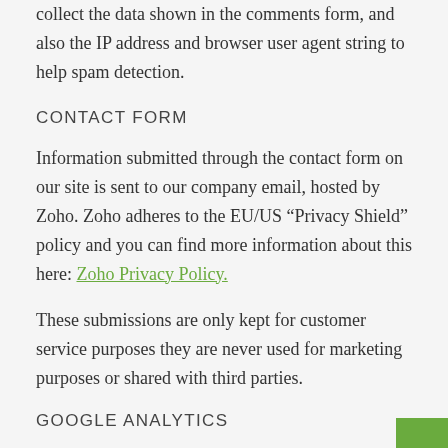collect the data shown in the comments form, and also the IP address and browser user agent string to help spam detection.
CONTACT FORM
Information submitted through the contact form on our site is sent to our company email, hosted by Zoho. Zoho adheres to the EU/US “Privacy Shield” policy and you can find more information about this here: Zoho Privacy Policy.
These submissions are only kept for customer service purposes they are never used for marketing purposes or shared with third parties.
GOOGLE ANALYTICS
We use Google Analytics on our site for anonymous reporting of site usage. So, no personalized data is stored. If you would like